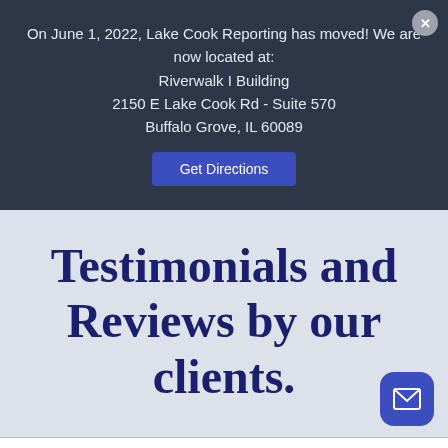On June 1, 2022, Lake Cook Reporting has moved! We are now located at:
Riverwalk I Building
2150 E Lake Cook Rd - Suite 570
Buffalo Grove, IL 60089
Get Directions
Testimonials and Reviews by our clients.